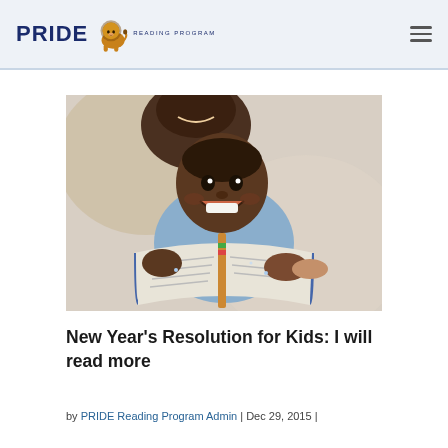PRIDE Reading Program
[Figure (photo): A happy young Black child smiling broadly while holding open a colorful children's book, with an adult visible behind them, both appearing joyful in a light-colored setting.]
New Year's Resolution for Kids: I will read more
by PRIDE Reading Program Admin | Dec 29, 2015 |